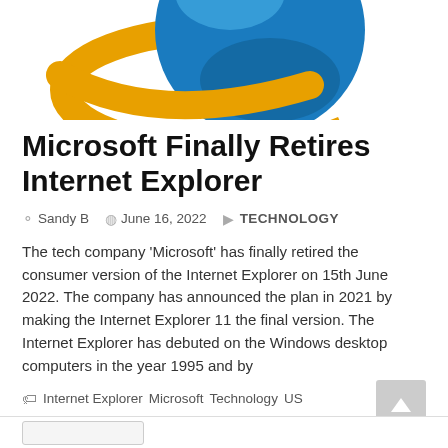[Figure (logo): Internet Explorer logo — blue globe with gold/yellow swoosh orbit ring, partially cropped at top]
Microsoft Finally Retires Internet Explorer
Sandy B   June 16, 2022   TECHNOLOGY
The tech company 'Microsoft' has finally retired the consumer version of the Internet Explorer on 15th June 2022. The company has announced the plan in 2021 by making the Internet Explorer 11 the final version. The Internet Explorer has debuted on the Windows desktop computers in the year 1995 and by
Internet Explorer  Microsoft  Technology  US